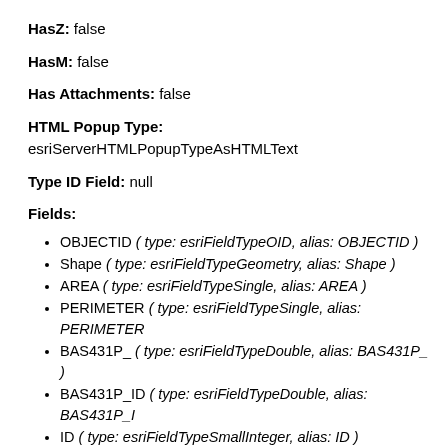HasZ: false
HasM: false
Has Attachments: false
HTML Popup Type: esriServerHTMLPopupTypeAsHTMLText
Type ID Field: null
Fields:
OBJECTID ( type: esriFieldTypeOID, alias: OBJECTID )
Shape ( type: esriFieldTypeGeometry, alias: Shape )
AREA ( type: esriFieldTypeSingle, alias: AREA )
PERIMETER ( type: esriFieldTypeSingle, alias: PERIMETER )
BAS431P_ ( type: esriFieldTypeDouble, alias: BAS431P_ )
BAS431P_ID ( type: esriFieldTypeDouble, alias: BAS431P_ID )
ID ( type: esriFieldTypeSmallInteger, alias: ID )
SQM ( type: esriFieldTypeSingle, alias: SQM )
PT431_ ( type: esriFieldTypeDouble, alias: PT431_ )
PT431_ID ( type: esriFieldTypeDouble, alias: PT431_ID )
COM_ID ( type: esriFieldTypeDouble, alias: COM_ID )
RCH_CODE ( type: esriFieldTypeString, alias: RCH_CODE,